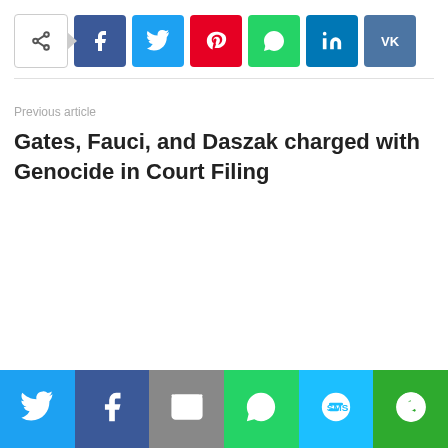[Figure (infographic): Social share buttons row: share toggle icon, Facebook, Twitter, Pinterest, WhatsApp, LinkedIn, VK buttons]
Previous article
Gates, Fauci, and Daszak charged with Genocide in Court Filing
[Figure (infographic): Bottom social share bar with Twitter, Facebook, Email, WhatsApp, SMS, and More buttons]